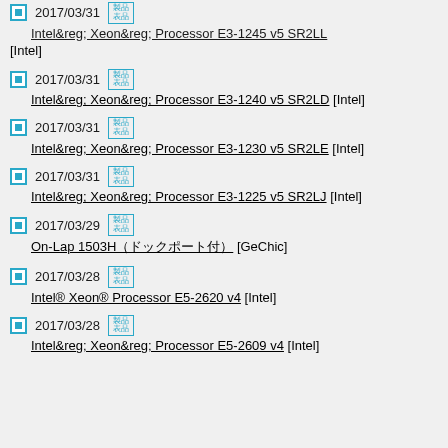2017/03/31 [製品] Intel&reg; Xeon&reg; Processor E3-1245 v5 SR2LL [Intel]
2017/03/31 [製品] Intel&reg; Xeon&reg; Processor E3-1240 v5 SR2LD [Intel]
2017/03/31 [製品] Intel&reg; Xeon&reg; Processor E3-1230 v5 SR2LE [Intel]
2017/03/31 [製品] Intel&reg; Xeon&reg; Processor E3-1225 v5 SR2LJ [Intel]
2017/03/29 [製品] On-Lap 1503H（ドックポート付） [GeChic]
2017/03/28 [製品] Intel® Xeon® Processor E5-2620 v4 [Intel]
2017/03/28 [製品] Intel&reg; Xeon&reg; Processor E5-2609 v4 [Intel]